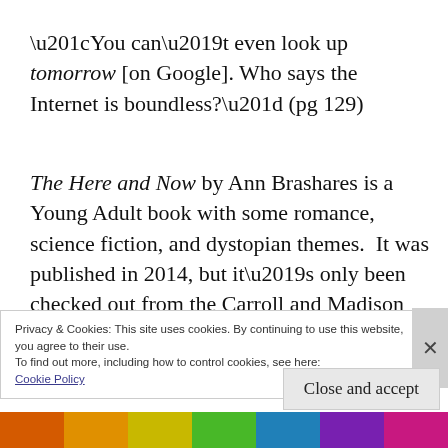“You can’t even look up tomorrow [on Google]. Who says the Internet is boundless?” (pg 129)
The Here and Now by Ann Brashares is a Young Adult book with some romance, science fiction, and dystopian themes.  It was published in 2014, but it’s only been checked out from the Carroll and Madison County libraries less than
Privacy & Cookies: This site uses cookies. By continuing to use this website, you agree to their use.
To find out more, including how to control cookies, see here:
Cookie Policy
[Figure (illustration): Colorful decorative pattern strip at the bottom of the page with orange, yellow, green, blue, and purple colors.]